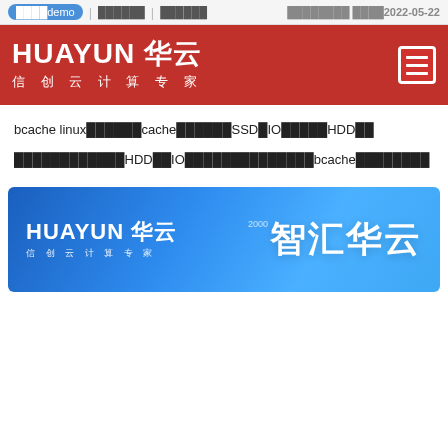████demo | ████ | ████  ████████ ████2022-05-22
[Figure (logo): HUAYUN 华云 信创云计算专家 brand header bar with red background and hamburger menu icon]
bcache linux██████cache██████SSD█IO█████HDD██
████████████HDD██IO██████████████bcache████████
[Figure (illustration): HUAYUN 华云 banner with blue gradient background showing brand logo on left and 智汇华云 text on right]